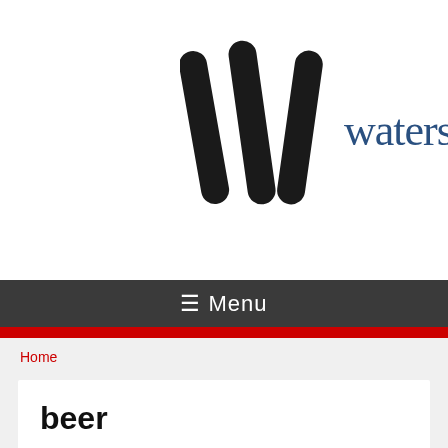[Figure (logo): Watershed logo with stylized W mark (three diagonal rounded bars) in dark/black and the text 'watershe' (clipped) in dark blue serif font]
≡ Menu
Home
beer
Craft Beer Oktoberfest Sept 24th